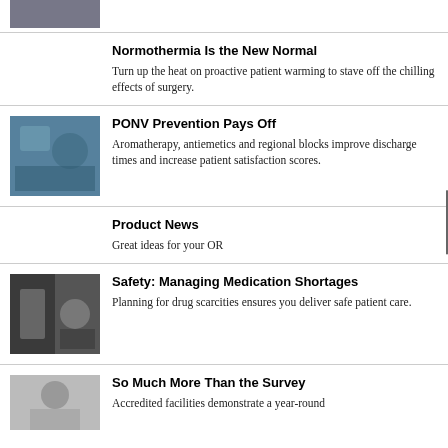[Figure (photo): Partial medical/surgical photo at top]
Normothermia Is the New Normal
Turn up the heat on proactive patient warming to stave off the chilling effects of surgery.
[Figure (photo): Medical professional with patient in clinical setting]
PONV Prevention Pays Off
Aromatherapy, antiemetics and regional blocks improve discharge times and increase patient satisfaction scores.
Product News
Great ideas for your OR
[Figure (photo): Medical equipment/medication management photo]
Safety: Managing Medication Shortages
Planning for drug scarcities ensures you deliver safe patient care.
[Figure (photo): Medical professional in scrubs/surgical attire]
So Much More Than the Survey
Accredited facilities demonstrate a year-round